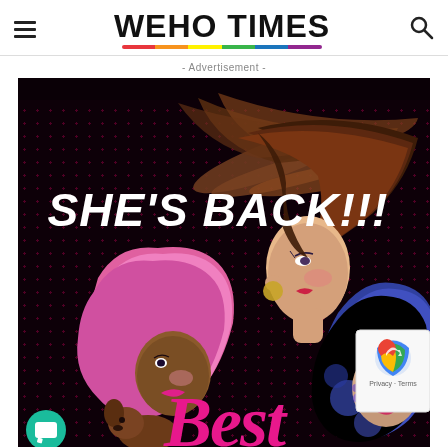WEHO TIMES
- Advertisement -
[Figure (illustration): Colorful illustration of three glamorous women with stylized hair (pink, brown flowing, and dark blue/purple) against a dark dotted background. Large white bold italic text reads SHE'S BACK!!! and pink cursive text reads Best at the bottom. A reCAPTCHA badge appears at the bottom right and a teal chat button at the bottom left.]